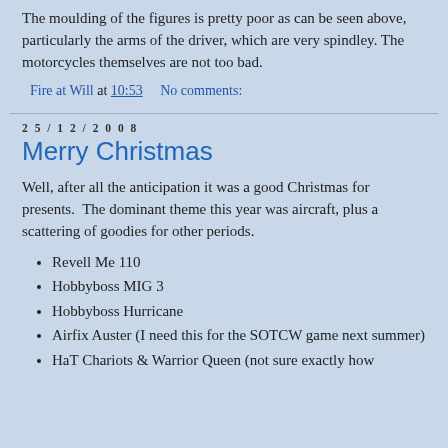The moulding of the figures is pretty poor as can be seen above, particularly the arms of the driver, which are very spindley. The motorcycles themselves are not too bad.
Fire at Will at 10:53    No comments:
25/12/2008
Merry Christmas
Well, after all the anticipation it was a good Christmas for presents.  The dominant theme this year was aircraft, plus a scattering of goodies for other periods.
Revell Me 110
Hobbyboss MIG 3
Hobbyboss Hurricane
Airfix Auster (I need this for the SOTCW game next summer)
HaT Chariots & Warrior Queen (not sure exactly how